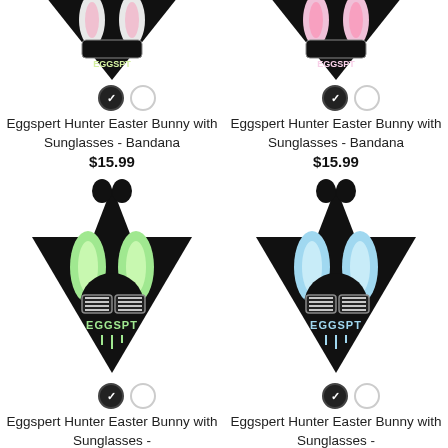[Figure (photo): Black bandana with Easter bunny with sunglasses design (top cropped), color swatch circles below]
Eggspert Hunter Easter Bunny with Sunglasses - Bandana
$15.99
[Figure (photo): Black bandana with Easter bunny with sunglasses design (top cropped, pink tones), color swatch circles below]
Eggspert Hunter Easter Bunny with Sunglasses - Bandana
$15.99
[Figure (photo): Black bandana with green Easter bunny with sunglasses design, color swatch circles below]
Eggspert Hunter Easter Bunny with Sunglasses -
[Figure (photo): Black bandana with blue Easter bunny with sunglasses design, color swatch circles below]
Eggspert Hunter Easter Bunny with Sunglasses -